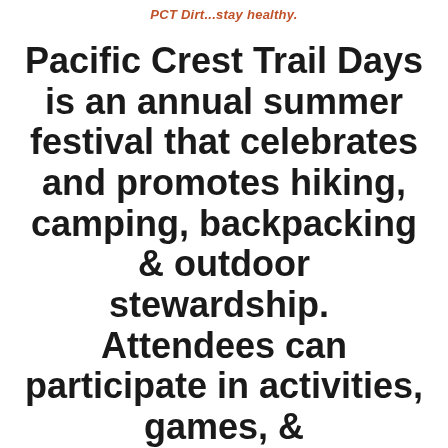PCT Dirt...stay healthy.
Pacific Crest Trail Days is an annual summer festival that celebrates and promotes hiking, camping, backpacking & outdoor stewardship.  Attendees can participate in activities, games, & presentations, wi...